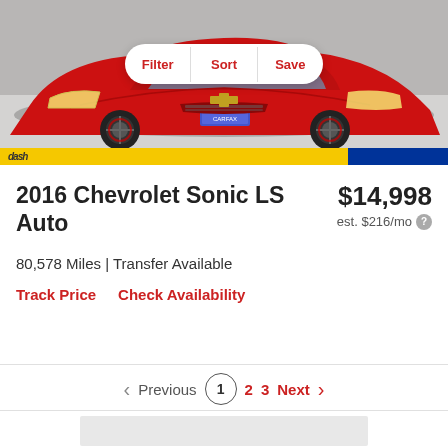[Figure (photo): Red Chevrolet Sonic car photographed from front-right angle in a dealership/garage setting. Gray floor visible.]
Filter | Sort | Save
2016 Chevrolet Sonic LS Auto
$14,998
est. $216/mo
80,578 Miles | Transfer Available
Track Price   Check Availability
Previous 1 2 3 Next